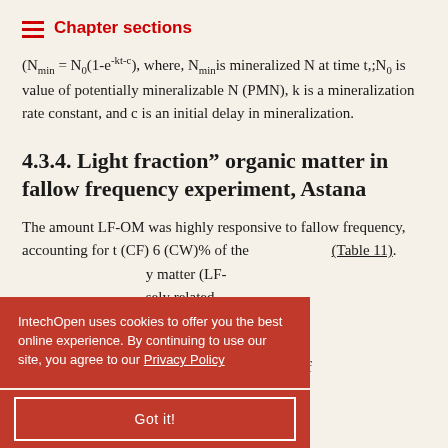Chapter sections
(Nmin = N0(1-e^-kt-c), where, Nmin is mineralized N at time t,;N0 is value of potentially mineralizable N (PMN), k is a mineralization rate constant, and c is an initial delay in mineralization.
4.3.4. Light fraction” organic matter in fallow frequency experiment, Astana
The amount LF-OM was highly responsive to fallow frequency, accounting for t (CF) 6 (CW)% of the ... (Table 11). ... y matter (LF- ... sely related ... LF-C content ... than that in the CF system. These results agree with those of